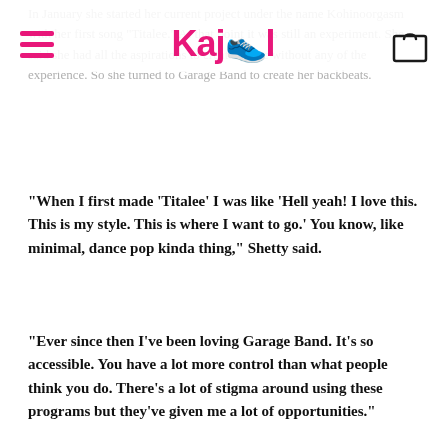Kajol
In January she started her current project under the name Kohinoorgasm with her first song “Titalee.” At that point it was still an experiment. She said she had all the aspirations to create music without any of the experience. So she turned to Garage Band to create her backbeats.
“When I first made ‘Titalee’ I was like ‘Hell yeah! I love this. This is my style. This is where I want to go.’ You know, like minimal, dance pop kinda thing,” Shetty said.
“Ever since then I’ve been loving Garage Band. It’s so accessible. You have a lot more control than what people think you do. There’s a lot of stigma around using these programs but they’ve given me a lot of opportunities.”